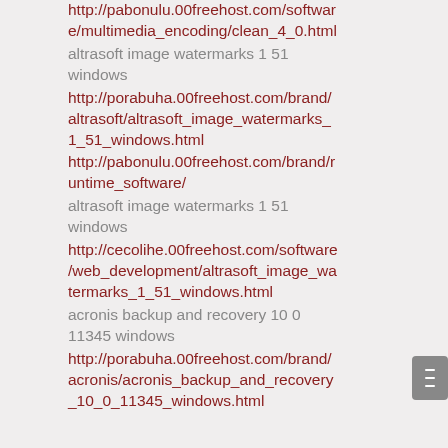http://pabonulu.00freehost.com/software/multimedia_encoding/clean_4_0.html
altrasoft image watermarks 1 51 windows
http://porabuha.00freehost.com/brand/altrasoft/altrasoft_image_watermarks_1_51_windows.html
http://pabonulu.00freehost.com/brand/runtime_software/
altrasoft image watermarks 1 51 windows
http://cecolihe.00freehost.com/software/web_development/altrasoft_image_watermarks_1_51_windows.html
acronis backup and recovery 10 0 11345 windows
http://porabuha.00freehost.com/brand/acronis/acronis_backup_and_recovery_10_0_11345_windows.html